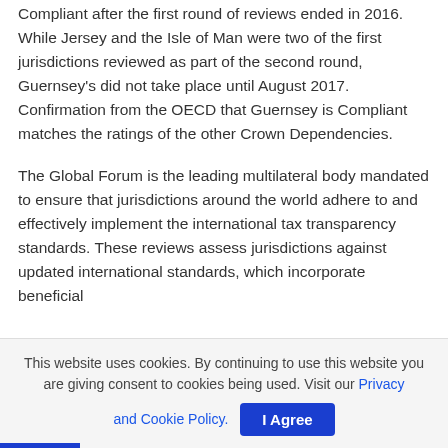Compliant after the first round of reviews ended in 2016. While Jersey and the Isle of Man were two of the first jurisdictions reviewed as part of the second round, Guernsey's did not take place until August 2017. Confirmation from the OECD that Guernsey is Compliant matches the ratings of the other Crown Dependencies.
The Global Forum is the leading multilateral body mandated to ensure that jurisdictions around the world adhere to and effectively implement the international tax transparency standards. These reviews assess jurisdictions against updated international standards, which incorporate beneficial
This website uses cookies. By continuing to use this website you are giving consent to cookies being used. Visit our Privacy and Cookie Policy.   I Agree